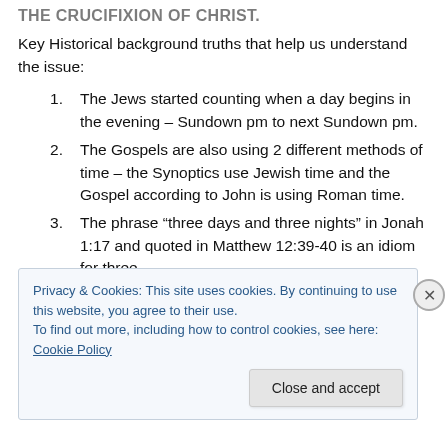THE CRUCIFIXION OF CHRIST.
Key Historical background truths that help us understand the issue:
The Jews started counting when a day begins in the evening – Sundown pm to next Sundown pm.
The Gospels are also using 2 different methods of time – the Synoptics use Jewish time and the Gospel according to John is using Roman time.
The phrase “three days and three nights” in Jonah 1:17 and quoted in Matthew 12:39-40 is an idiom for three
Privacy & Cookies: This site uses cookies. By continuing to use this website, you agree to their use.
To find out more, including how to control cookies, see here: Cookie Policy